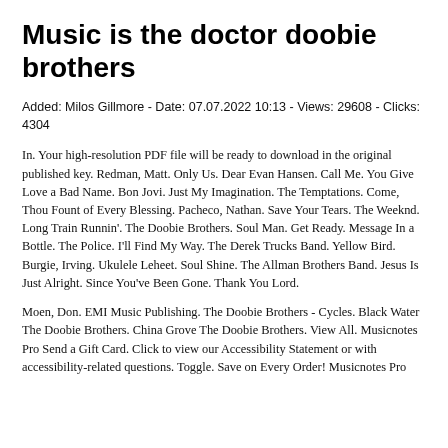Music is the doctor doobie brothers
Added: Milos Gillmore - Date: 07.07.2022 10:13 - Views: 29608 - Clicks: 4304
In. Your high-resolution PDF file will be ready to download in the original published key. Redman, Matt. Only Us. Dear Evan Hansen. Call Me. You Give Love a Bad Name. Bon Jovi. Just My Imagination. The Temptations. Come, Thou Fount of Every Blessing. Pacheco, Nathan. Save Your Tears. The Weeknd. Long Train Runnin'. The Doobie Brothers. Soul Man. Get Ready. Message In a Bottle. The Police. I'll Find My Way. The Derek Trucks Band. Yellow Bird. Burgie, Irving. Ukulele Leheet. Soul Shine. The Allman Brothers Band. Jesus Is Just Alright. Since You've Been Gone. Thank You Lord.
Moen, Don. EMI Music Publishing. The Doobie Brothers - Cycles. Black Water The Doobie Brothers. China Grove The Doobie Brothers. View All. Musicnotes Pro Send a Gift Card. Click to view our Accessibility Statement or with accessibility-related questions. Toggle. Save on Every Order! Musicnotes Pro